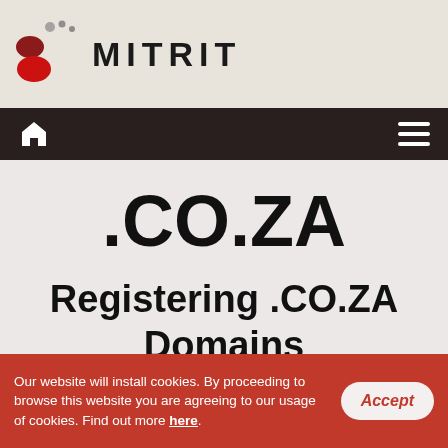[Figure (logo): MITRIT logo with colored oval dots and bold brand name text]
Home menu navigation bar with house icon and hamburger menu icon
.CO.ZA
Registering .CO.ZA Domains
Our website will install cookies. By proceeding to browse this website you are agreeing to our usage of cookies. Find out more here. Accept